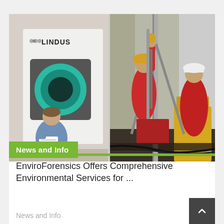[Figure (photo): Composite photo showing two scenes: left side shows a person in a blue shirt crouching and writing notes in front of a large Lindus industrial washing machine with a teal circular door; right side shows three workers in red shirts and hard hats operating drilling equipment inside a tented enclosure.]
News and Info
EnviroForensics Offers Comprehensive Environmental Services for ...
News and Info